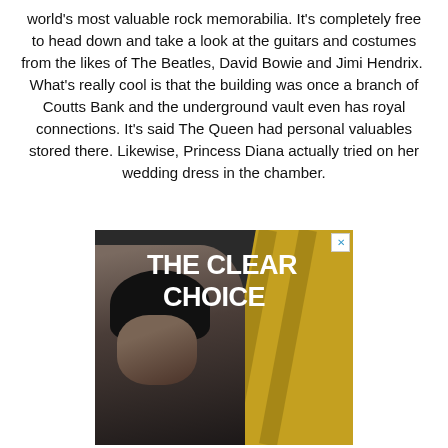world's most valuable rock memorabilia. It's completely free to head down and take a look at the guitars and costumes from the likes of The Beatles, David Bowie and Jimi Hendrix.  What's really cool is that the building was once a branch of Coutts Bank and the underground vault even has royal connections. It's said The Queen had personal valuables stored there. Likewise, Princess Diana actually tried on her wedding dress in the chamber.
[Figure (photo): Advertisement image showing a young smiling Black man with short curly hair against a dark background with a gold/yellow geometric shape. Text overlay reads 'THE CLEAR CHOICE' in large white bold letters. A small close button (X) appears in the top right corner.]